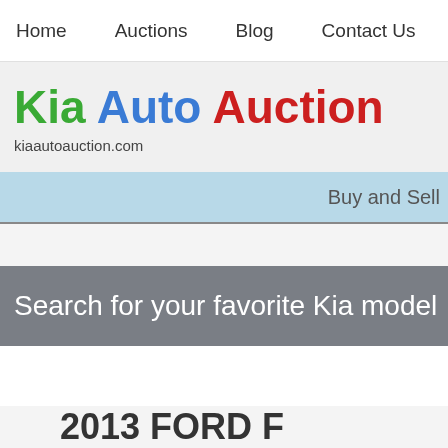Home   Auctions   Blog   Contact Us
Kia Auto Auction
kiaautoauction.com
Buy and Sell
Search for your favorite Kia model
2013 FORD F